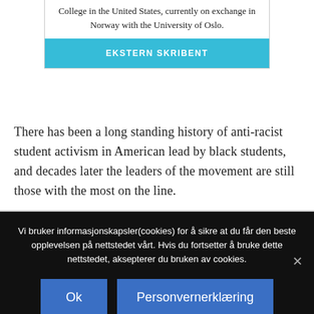College in the United States, currently on exchange in Norway with the University of Oslo.
EKSTERN SKRIBENT
There has been a long standing history of anti-racist student activism in American lead by black students, and decades later the leaders of the movement are still those with the most on the line.
Vi bruker informasjonskapsler(cookies) for å sikre at du får den beste opplevelsen på nettstedet vårt. Hvis du fortsetter å bruke dette nettstedet, aksepterer du bruken av cookies.
Ok
Personvernerklæring